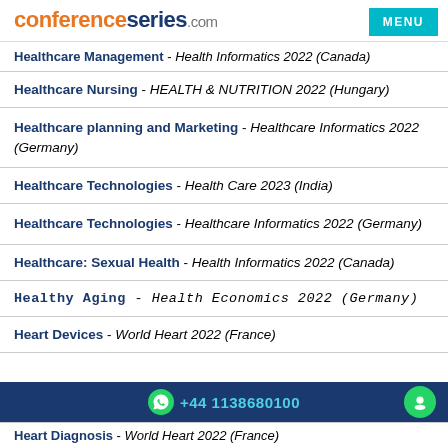conferenceseries.com | MENU
Healthcare Management - Health Informatics 2022 (Canada)
Healthcare Nursing - HEALTH & NUTRITION 2022 (Hungary)
Healthcare planning and Marketing - Healthcare Informatics 2022 (Germany)
Healthcare Technologies - Health Care 2023 (India)
Healthcare Technologies - Healthcare Informatics 2022 (Germany)
Healthcare: Sexual Health - Health Informatics 2022 (Canada)
Healthy Aging - Health Economics 2022 (Germany)
Heart Devices - World Heart 2022 (France)
+44 1138680100
Heart Diagnosis - World Heart 2022 (France)